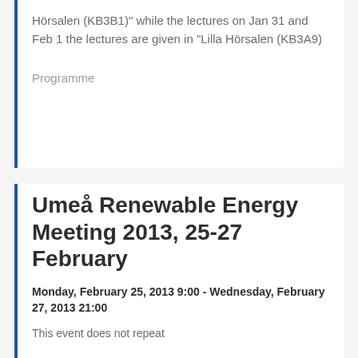Hörsalen (KB3B1)" while the lectures on Jan 31 and Feb 1 the lectures are given in "Lilla Hörsalen (KB3A9)
Programme
Umeå Renewable Energy Meeting 2013, 25-27 February
Monday, February 25, 2013 9:00 - Wednesday, February 27, 2013 21:00
This event does not repeat